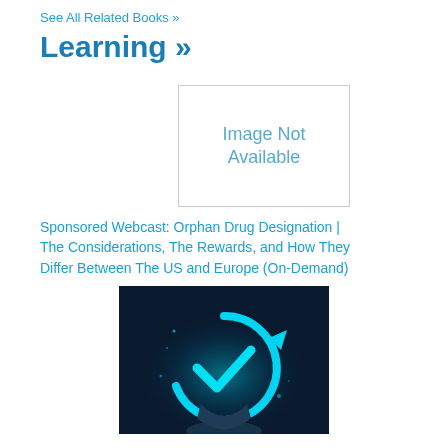See All Related Books »
Learning »
[Figure (other): Image Not Available placeholder box with border]
Sponsored Webcast: Orphan Drug Designation | The Considerations, The Rewards, and How They Differ Between The US and Europe (On-Demand)
[Figure (photo): Glowing cyan checkmark/tick icon in a circular arrow shape held in a hand, dark blue background — representing verification or approval concept]